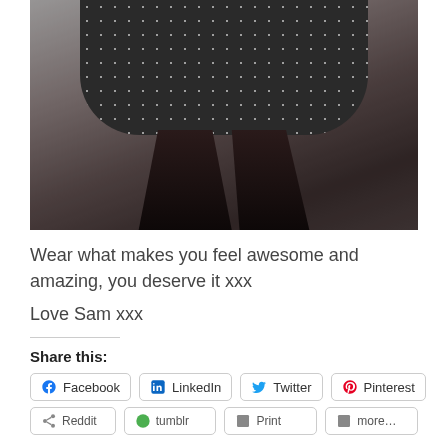[Figure (photo): Photo of a person wearing a dark polka-dot dress with black tights, cropped to show torso and legs]
Wear what makes you feel awesome and amazing, you deserve it xxx
Love Sam xxx
Share this:
Facebook  LinkedIn  Twitter  Pinterest